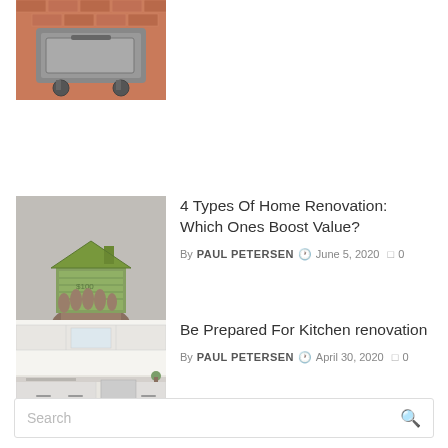[Figure (photo): Partial view of a stainless steel BBQ grill/smoker on wheels, with brick wall in background]
[Figure (photo): Hand holding a small house made of folded dollar bills (money house)]
4 Types Of Home Renovation: Which Ones Boost Value?
By PAUL PETERSEN  ⏰ June 5, 2020  □ 0
[Figure (photo): Interior photo of a modern white kitchen with cabinets and stainless appliances]
Be Prepared For Kitchen renovation
By PAUL PETERSEN  ⏰ April 30, 2020  □ 0